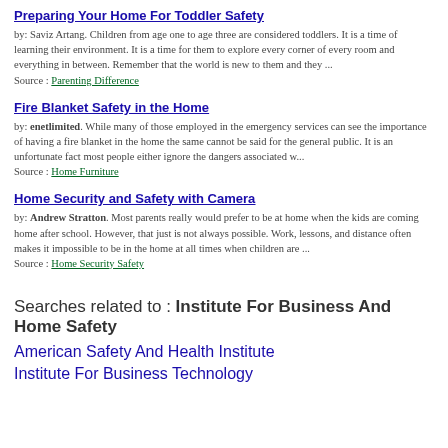Preparing Your Home For Toddler Safety
by: Saviz Artang. Children from age one to age three are considered toddlers. It is a time of learning their environment. It is a time for them to explore every corner of every room and everything in between. Remember that the world is new to them and they ...
Source : Parenting Difference
Fire Blanket Safety in the Home
by: enetlimited. While many of those employed in the emergency services can see the importance of having a fire blanket in the home the same cannot be said for the general public. It is an unfortunate fact most people either ignore the dangers associated w...
Source : Home Furniture
Home Security and Safety with Camera
by: Andrew Stratton. Most parents really would prefer to be at home when the kids are coming home after school. However, that just is not always possible. Work, lessons, and distance often makes it impossible to be in the home at all times when children are ...
Source : Home Security Safety
Searches related to : Institute For Business And Home Safety
American Safety And Health Institute
Institute For Business Technology